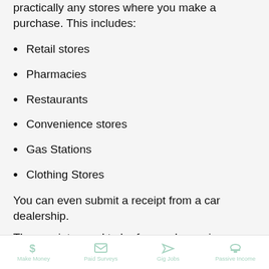practically any stores where you make a purchase. This includes:
Retail stores
Pharmacies
Restaurants
Convenience stores
Gas Stations
Clothing Stores
You can even submit a receipt from a car dealership.
The receipts need to be for purchases in your household and the receipt needs to include:
Make Money  Paid Surveys  Gig Jobs  Passive Income